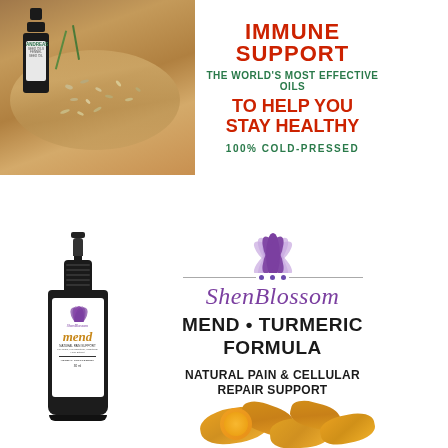[Figure (photo): Advertisement for Andreas Seed Oils immune support product. Shows a dark bottle of fennuel seed oil next to scattered seeds on a wooden board. Text reads: IMMUNE SUPPORT / THE WORLD'S MOST EFFECTIVE OILS / TO HELP YOU / STAY HEALTHY / 100% COLD-PRESSED]
[Figure (photo): Advertisement for ShenBlossom MEND Turmeric Formula. Shows a dark dropper bottle labeled 'mend' with the ShenBlossom logo (purple lotus flower), brand name in purple italic script, and text: MEND • TURMERIC FORMULA / NATURAL PAIN & CELLULAR REPAIR SUPPORT. Also shows turmeric root pieces at bottom right.]